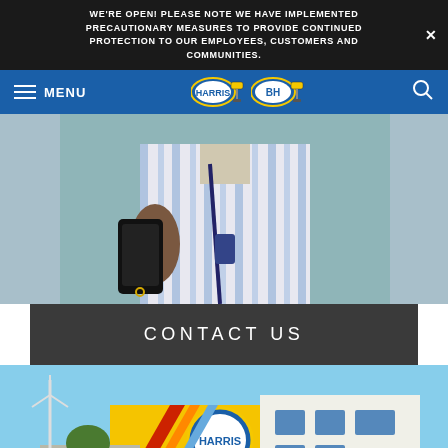WE'RE OPEN! PLEASE NOTE WE HAVE IMPLEMENTED PRECAUTIONARY MEASURES TO PROVIDE CONTINUED PROTECTION TO OUR EMPLOYEES, CUSTOMERS AND COMMUNITIES.
MENU | Harris BH Logos | Search
[Figure (photo): Woman in striped blue and white shirt holding a smartphone, photographed from neck down]
CONTACT US
[Figure (photo): Harris Paints building exterior — bright yellow building with Harris logo, wind turbine visible in background, rainbow diagonal stripe decoration on facade]